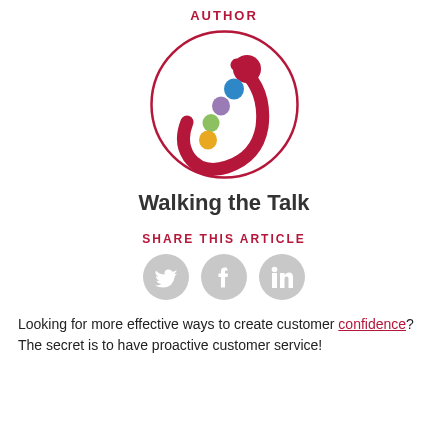AUTHOR
[Figure (logo): Walking the Talk logo — a dark red circle outline containing a stylized figure with colorful dots (blue, purple, green, yellow) and a dark red curved swoosh shape]
Walking the Talk
SHARE THIS ARTICLE
[Figure (illustration): Three gray circular social media icons: Twitter bird, Facebook f, LinkedIn in]
Looking for more effective ways to create customer confidence? The secret is to have proactive customer service!